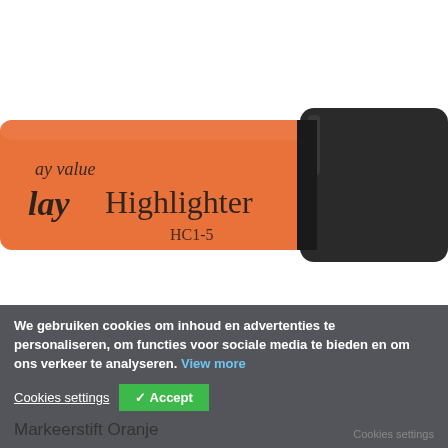[Figure (photo): Close-up photo of an orange highlighter marker pen with black cap. The pen body shows text 'day value', 'day Highlighter', and 'HC1-5' printed on it.]
We gebruiken cookies om inhoud en advertenties te personaliseren, om functies voor sociale media te bieden en om ons verkeer te analyseren. View more
Markeerstift Oranje
Cookies settings
✓ Accept
Cookies settings